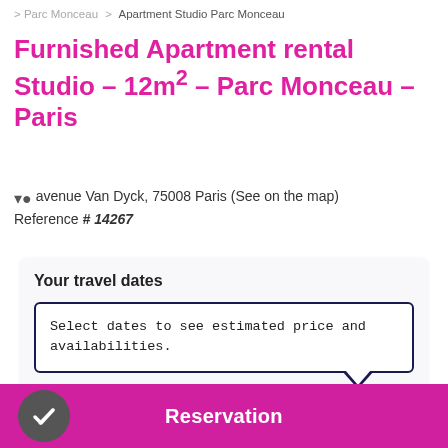> Parc Monceau > Apartment Studio Parc Monceau
Furnished Apartment rental Studio - 12m² - Parc Monceau - Paris
avenue Van Dyck, 75008 Paris (See on the map)
Reference # 14267
Your travel dates
Select dates to see estimated price and availabilities.
Check-in date
Reservation